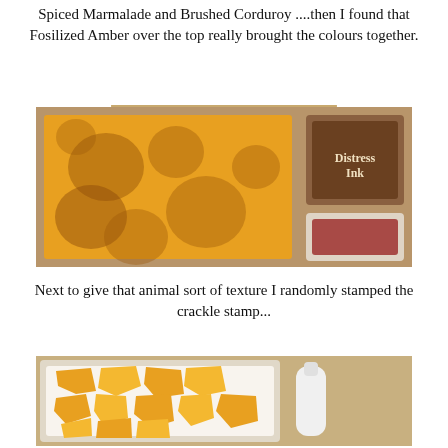Spiced Marmalade and Brushed Corduroy ....then I found that Fosilized Amber over the top really brought the colours together.
[Figure (photo): A yellow-orange textured paper square with circular blotched marks, alongside a Distress Ink pad and a small glass jar with red/dark contents, all on a brown surface.]
Next to give that animal sort of texture I randomly stamped the crackle stamp...
[Figure (photo): A crackle stamp stencil with a giraffe-pattern cutout laid over orange-yellow paper, next to a white bottle/dauber, on a beige surface.]